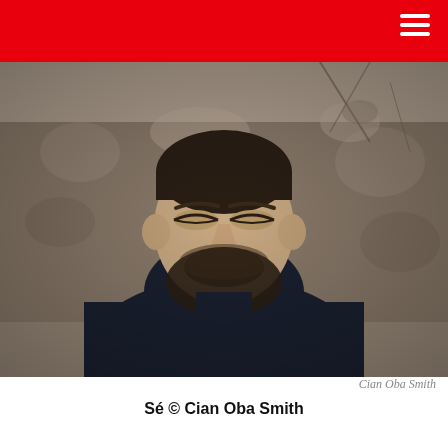[Figure (photo): Young man with closed eyes and a beard, wearing a dark puffer jacket with a high collar, photographed outdoors against a blurred stone/vegetation background. Portrait-style photograph.]
Cian Oba Smith
Sé © Cian Oba Smith